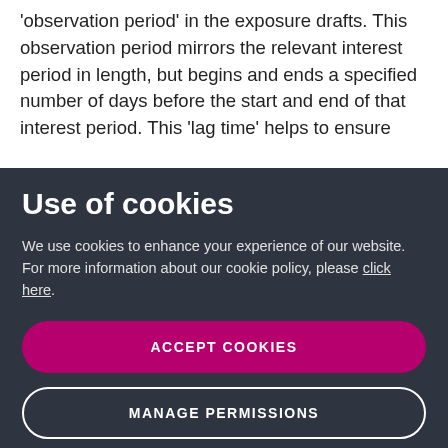'observation period' in the exposure drafts. This observation period mirrors the relevant interest period in length, but begins and ends a specified number of days before the start and end of that interest period. This 'lag time' helps to ensure
Use of cookies
We use cookies to enhance your experience of our website. For more information about our cookie policy, please click here.
ACCEPT COOKIES
MANAGE PERMISSIONS